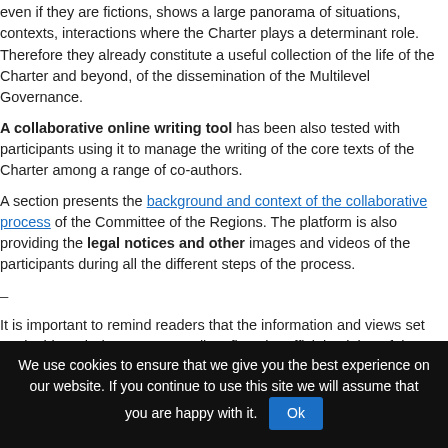even if they are fictions, shows a large panorama of situations, contexts, interactions where the Charter plays a determinant role. Therefore they already constitute a useful collection of the life of the Charter and beyond, of the dissemination of the Multilevel Governance.
A collaborative online writing tool has been also tested with participants using it to manage the writing of the core texts of the Charter among a range of co-authors.
A section presents the background and context of the collaborative process of the Committee of the Regions. The platform is also providing the legal notices and other images and videos of the participants during all the different steps of the process.
–
It is important to remind readers that the information and views set out in this web do not necessarily reflect the official opinion of the European Union. The opinions expressed in the online forum express only their authors' personal opinion.
FILED UNDER ABOUT · TAGGED WITH COLLABORATIVE PROCESS, WEBSITE
Comments are closed.
We use cookies to ensure that we give you the best experience on our website. If you continue to use this site we will assume that you are happy with it. Ok